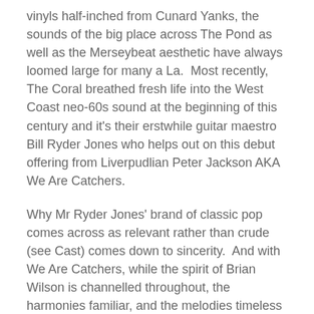vinyls half-inched from Cunard Yanks, the sounds of the big place across The Pond as well as the Merseybeat aesthetic have always loomed large for many a La.  Most recently, The Coral breathed fresh life into the West Coast neo-60s sound at the beginning of this century and it's their erstwhile guitar maestro Bill Ryder Jones who helps out on this debut offering from Liverpudlian Peter Jackson AKA We Are Catchers.
Why Mr Ryder Jones' brand of classic pop comes across as relevant rather than crude (see Cast) comes down to sincerity.  And with We Are Catchers, while the spirit of Brian Wilson is channelled throughout, the harmonies familiar, and the melodies timeless rather than progressive, it is always heartfelt.  Jackson is continuing a proud tradition which is as important as the boundary-pushing inclinations of the other side of the Liver coin.
After hearing tracks such as Isabelle and If You Decide a couple of times you'll feel like you've lived